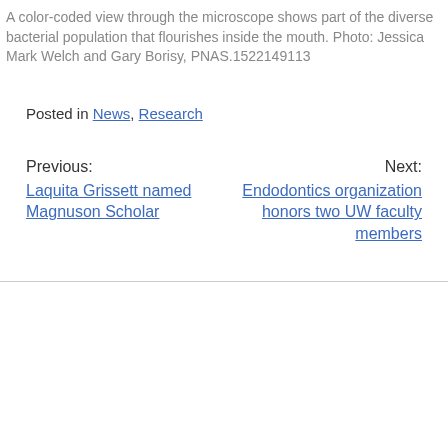A color-coded view through the microscope shows part of the diverse bacterial population that flourishes inside the mouth. Photo: Jessica Mark Welch and Gary Borisy, PNAS.1522149113
Posted in News, Research
Previous: Laquita Grissett named Magnuson Scholar
Next: Endodontics organization honors two UW faculty members